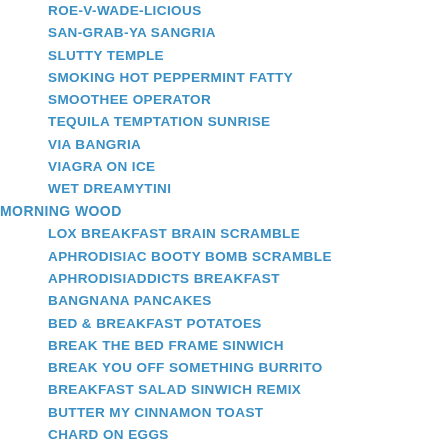ROE-V-WADE-LICIOUS
SAN-GRAB-YA SANGRIA
SLUTTY TEMPLE
SMOKING HOT PEPPERMINT FATTY
SMOOTHEE OPERATOR
TEQUILA TEMPTATION SUNRISE
VIA BANGRIA
VIAGRA ON ICE
WET DREAMYTINI
MORNING WOOD
LOX BREAKFAST BRAIN SCRAMBLE
APHRODISIAC BOOTY BOMB SCRAMBLE
APHRODISIADDICTS BREAKFAST
BANGNANA PANCAKES
BED & BREAKFAST POTATOES
BREAK THE BED FRAME SINWICH
BREAK YOU OFF SOMETHING BURRITO
BREAKFAST SALAD SINWICH REMIX
BUTTER MY CINNAMON TOAST
CHARD ON EGGS